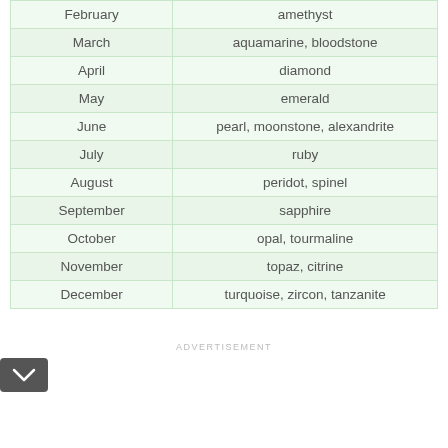| Month | Birthstone(s) |
| --- | --- |
| February | amethyst |
| March | aquamarine, bloodstone |
| April | diamond |
| May | emerald |
| June | pearl, moonstone, alexandrite |
| July | ruby |
| August | peridot, spinel |
| September | sapphire |
| October | opal, tourmaline |
| November | topaz, citrine |
| December | turquoise, zircon, tanzanite |
ADVERTISEMENT
[Figure (other): Advertisement banner for Termix product with teal background and small bird/chevron icons, alongside a dark navy panel with green 'TERMIX' logo and 'Learn more' button. A chevron/down-arrow button appears above the banner.]